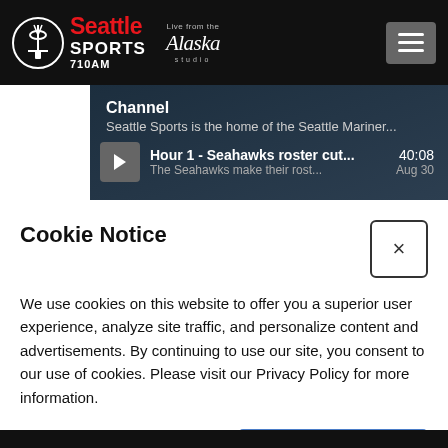[Figure (logo): Seattle Sports 710AM logo with Space Needle icon in white circle, red 'Seattle' text, white 'SPORTS 710AM', and Alaska Airlines 'Live from the Alaska studio' logo]
[Figure (screenshot): Channel section showing 'Channel' header, 'Seattle Sports is the home of the Seattle Mariner...' description, and episode row: play button, 'Hour 1 - Seahawks roster cut...' title, '40:08' duration, 'The Seahawks make their rost...' subtitle, 'Aug 30' date]
Cookie Notice
We use cookies on this website to offer you a superior user experience, analyze site traffic, and personalize content and advertisements. By continuing to use our site, you consent to our use of cookies. Please visit our Privacy Policy for more information.